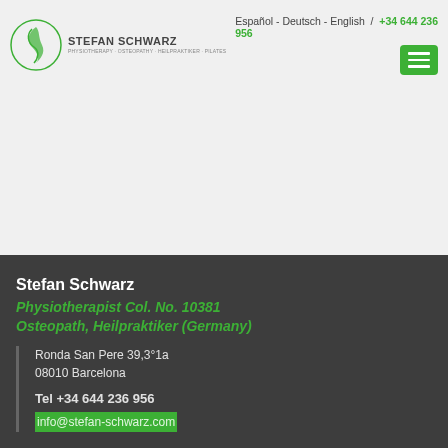Stefan Schwarz — Español - Deutsch - English / +34 644 236 956
Stefan Schwarz
Physiotherapist Col. No. 10381
Osteopath, Heilpraktiker (Germany)
Ronda San Pere 39,3°1a
08010 Barcelona

Tel +34 644 236 956
info@stefan-schwarz.com